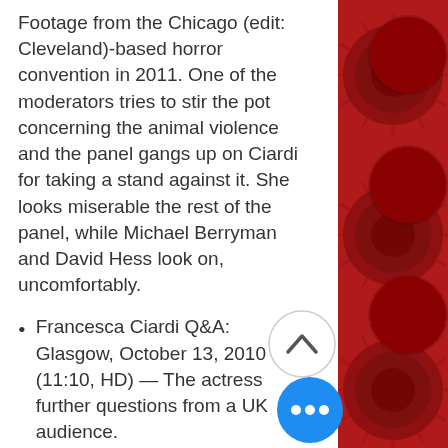Footage from the Chicago (edit: Cleveland)-based horror convention in 2011. One of the moderators tries to stir the pot concerning the animal violence and the panel gangs up on Ciardi for taking a stand against it. She looks miserable the rest of the panel, while Michael Berryman and David Hess look on, uncomfortably.
Francesca Ciardi Q&A: Glasgow, October 13, 2010 (11:10, HD) — The actress further questions from a UK audience.
Yorke and Deodato Reunion, Los Angeles, April 18, 2009 (10:30,